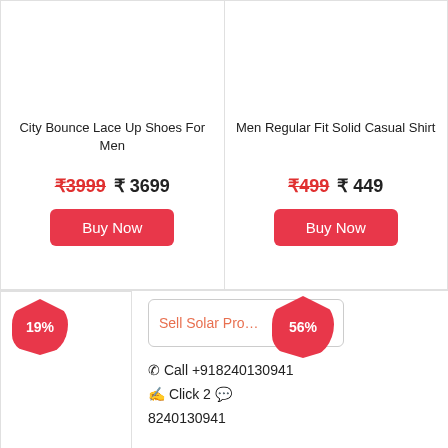City Bounce Lace Up Shoes For Men
₹3999  ₹ 3699
Buy Now
Men Regular Fit Solid Casual Shirt
₹499  ₹ 449
Buy Now
19%
Sell Solar Pro…
56%
☎ Call +918240130941
👆 Click 2 💬 8240130941